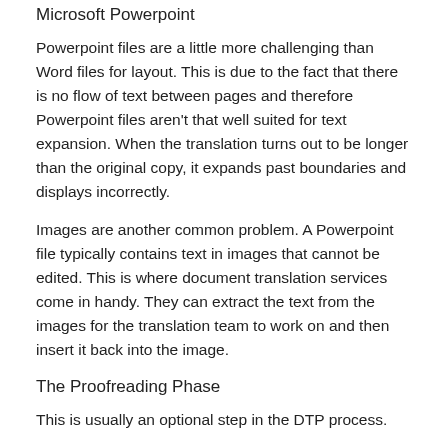Microsoft Powerpoint
Powerpoint files are a little more challenging than Word files for layout. This is due to the fact that there is no flow of text between pages and therefore Powerpoint files aren't that well suited for text expansion. When the translation turns out to be longer than the original copy, it expands past boundaries and displays incorrectly.
Images are another common problem. A Powerpoint file typically contains text in images that cannot be edited. This is where document translation services come in handy. They can extract the text from the images for the translation team to work on and then insert it back into the image.
The Proofreading Phase
This is usually an optional step in the DTP process.